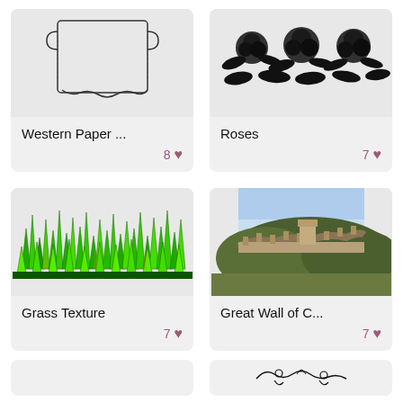[Figure (illustration): Western Paper scroll/banner illustration in black ink on gray background]
Western Paper ...
8 ♥
[Figure (illustration): Black illustrated roses arrangement on gray background]
Roses
7 ♥
[Figure (illustration): Green grass texture illustration on gray background]
Grass Texture
7 ♥
[Figure (illustration): Great Wall of China illustration with hills and sky]
Great Wall of C...
7 ♥
[Figure (illustration): Partial card at bottom left, gray]
[Figure (illustration): Partial card at bottom right with decorative swirl illustration]